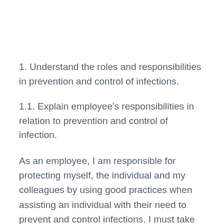1. Understand the roles and responsibilities in prevention and control of infections.
1.1. Explain employee's responsibilities in relation to prevention and control of infection.
As an employee, I am responsible for protecting myself, the individual and my colleagues by using good practices when assisting an individual with their need to prevent and control infections. I must take any concerns I have to the manger.
1.2. Explain employer's responsibilities in